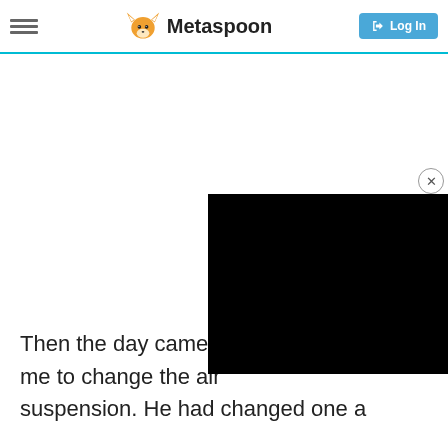Metaspoon — Log In
[Figure (screenshot): Black video player overlay in bottom-right corner with a close (X) button]
Then the day came w me to change the air suspension. He had changed one a